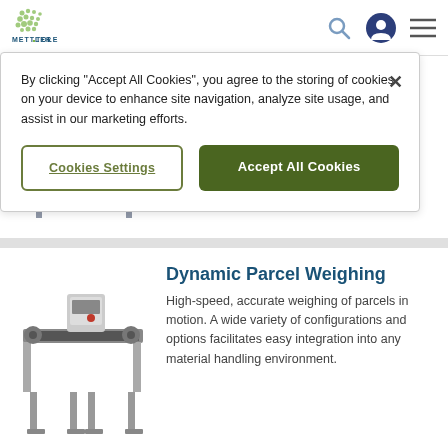[Figure (logo): Mettler Toledo logo with green dot grid pattern and blue text]
By clicking “Accept All Cookies”, you agree to the storing of cookies on your device to enhance site navigation, analyze site usage, and assist in our marketing efforts.
Cookies Settings
Accept All Cookies
[Figure (photo): Partial view of a conveyor/weighing machine product image]
[Figure (photo): Dynamic Parcel Weighing machine - a conveyor belt scale system with metal frame]
Dynamic Parcel Weighing
High-speed, accurate weighing of parcels in motion. A wide variety of configurations and options facilitates easy integration into any material handling environment.